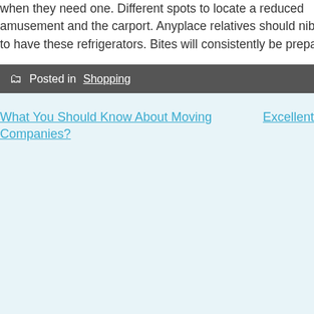when they need one. Different spots to locate a reduced amusement and the carport. Anyplace relatives should nib to have these refrigerators. Bites will consistently be prepa
Posted in Shopping
What You Should Know About Moving Companies?
Excellent